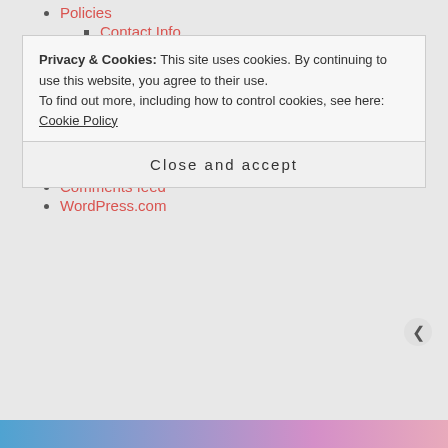Policies
Contact Info
Review Policy
Meta
Register
Log in
Entries feed
Comments feed
WordPress.com
Privacy & Cookies: This site uses cookies. By continuing to use this website, you agree to their use.
To find out more, including how to control cookies, see here: Cookie Policy
Close and accept